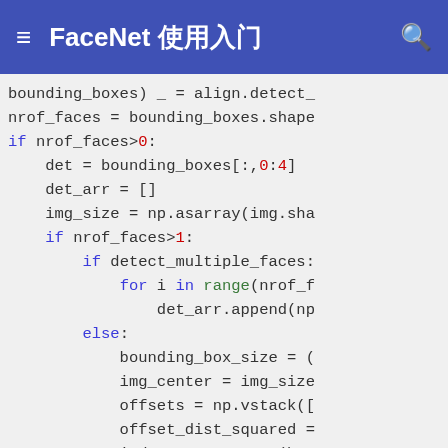FaceNet 使用入门
[Figure (screenshot): Python source code snippet showing face detection logic with bounding boxes, nrof_faces check, detect_multiple_faces loop, and enumerate loop. Code uses keyword highlighting in blue and red.]